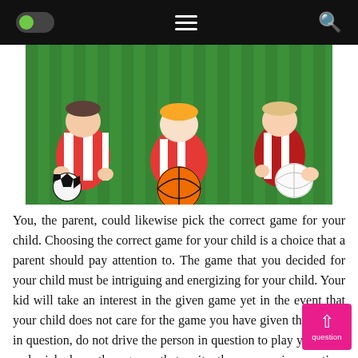[Figure (screenshot): Mobile website navigation bar with green toggle switch on left, hamburger menu icon in center, and search icon on right, all on black background]
[Figure (photo): Children lying on grass holding various sports balls including a basketball, soccer ball, and rugby ball, wearing red and white striped jerseys, viewed from above]
You, the parent, could likewise pick the correct game for your child. Choosing the correct game for your child is a choice that a parent should pay attention to. The game that you decided for your child must be intriguing and energizing for your child. Your kid will take an interest in the given game yet in the event that your child does not care for the game you have given the person in question, do not drive the person in question to play yet rather and picked another game that suits the person in question. Another approach to be certain